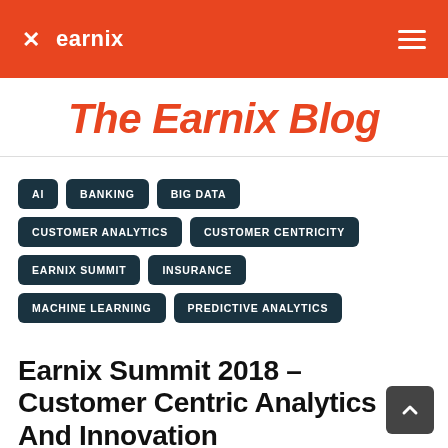earnix
The Earnix Blog
AI
BANKING
BIG DATA
CUSTOMER ANALYTICS
CUSTOMER CENTRICITY
EARNIX SUMMIT
INSURANCE
MACHINE LEARNING
PREDICTIVE ANALYTICS
Earnix Summit 2018 – Customer Centric Analytics And Innovation